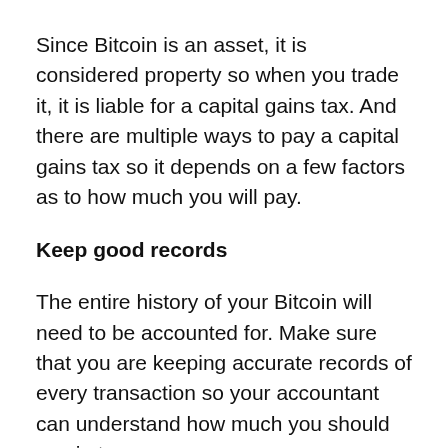Since Bitcoin is an asset, it is considered property so when you trade it, it is liable for a capital gains tax. And there are multiple ways to pay a capital gains tax so it depends on a few factors as to how much you will pay.
Keep good records
The entire history of your Bitcoin will need to be accounted for. Make sure that you are keeping accurate records of every transaction so your accountant can understand how much you should pay in taxes.
Aside from the fact that your Bitcoins will come under different tax codes for capital gains, there is also how they are acquired that factor into what you need to pay.
For instance, there are long term capital gains and short term. If you have your Bitcoin for over a year and then